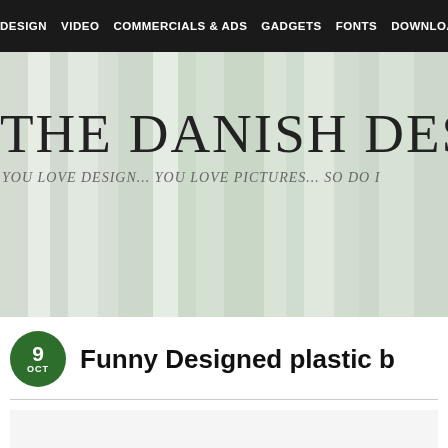DESIGN   VIDEO   COMMERCIALS & ADS   GADGETS   FONTS   DOWNLOAD
[Figure (illustration): Hero banner with vertical green and grey stripes background, site title 'THE DANISH DESIG' and subtitle 'YOU LOVE DESIGN... YOU LOVE PICTURES... SO DO I']
THE DANISH DESIG
YOU LOVE DESIGN... YOU LOVE PICTURES... SO DO I
Funny Designed plastic b
9 OCT